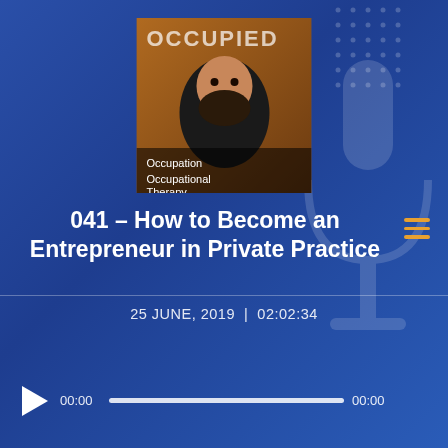[Figure (photo): Podcast thumbnail showing a bearded man with text 'OCCUPIED' at top and 'Occupation / Occupational Therapy' at bottom, orange background]
041 – How to Become an Entrepreneur in Private Practice
25 JUNE, 2019  |  02:02:34
[Figure (other): Audio player with play button, progress bar showing 00:00 to 00:00]